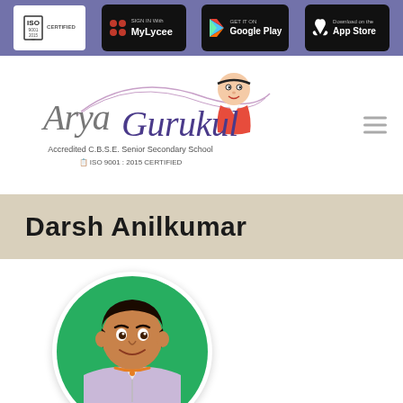ISO 9001:2015 CERTIFIED | SIGN IN With MyLycee | GET IT ON Google Play | Download on the App Store
[Figure (logo): Arya Gurukul school logo with cartoon mascot, text: Accredited C.B.S.E. Senior Secondary School, ISO 9001:2015 CERTIFIED]
Darsh Anilkumar
[Figure (photo): Circular profile photo of a young boy in school uniform (light purple shirt) against a green background]